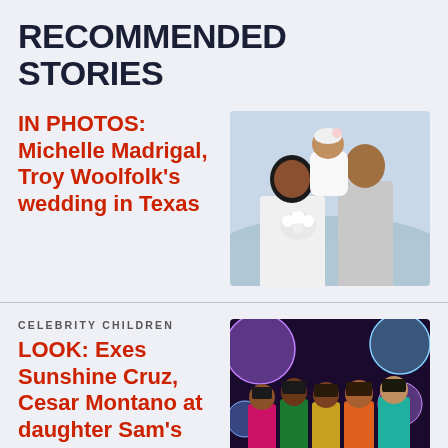RECOMMENDED STORIES
IN PHOTOS: Michelle Madrigal, Troy Woolfolk's wedding in Texas
[Figure (photo): A couple kissing a baby at their wedding in Texas. The man is in a grey suit and the woman has long dark hair.]
CELEBRITY CHILDREN
LOOK: Exes Sunshine Cruz, Cesar Montano at daughter Sam's debut
[Figure (photo): Group photo of five people at a disco-themed debut party with colorful balloon decorations in the background.]